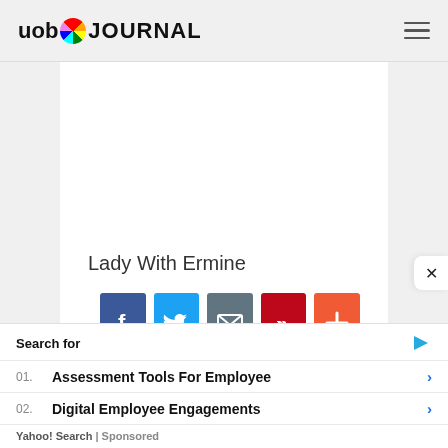uob JOURNAL
Lady With Ermine
[Figure (infographic): Row of 5 social sharing buttons: Facebook (blue), Twitter (light blue), Email (gray), Pinterest (red), Plus/More (orange-red)]
Search for
01. Assessment Tools For Employee
02. Digital Employee Engagements
Yahoo! Search | Sponsored